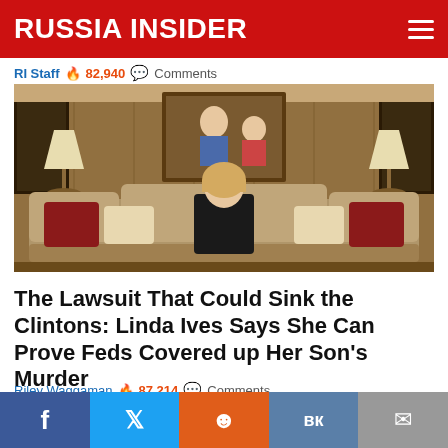RUSSIA INSIDER
RI Staff 🔥 82,940 💬 Comments
[Figure (photo): Woman with blonde hair sitting on an ornate sofa in a wood-paneled room with lamps and decorative pillows, a portrait painting on the wall behind her]
The Lawsuit That Could Sink the Clintons: Linda Ives Says She Can Prove Feds Covered up Her Son's Murder
Riley Waggaman 🔥 87,214 💬 Comments